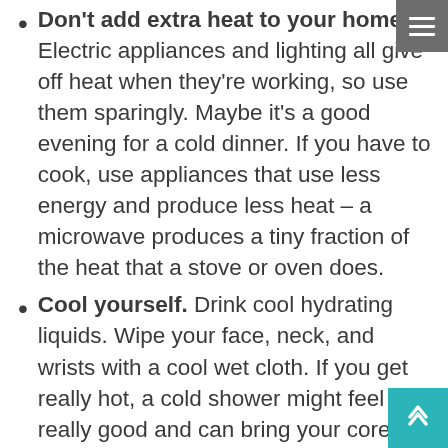Don't add extra heat to your home. Electric appliances and lighting all give off heat when they're working, so use them sparingly. Maybe it's a good evening for a cold dinner. If you have to cook, use appliances that use less energy and produce less heat – a microwave produces a tiny fraction of the heat that a stove or oven does.
Cool yourself. Drink cool hydrating liquids. Wipe your face, neck, and wrists with a cool wet cloth. If you get really hot, a cold shower might feel really good and can bring your core body temperature down pretty quickly. Be sure to check for signs of heatstroke if you're feeling ill.